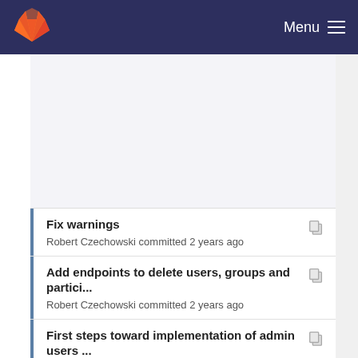Menu
Fix warnings
Robert Czechowski committed 2 years ago
Add endpoints to delete users, groups and partici...
Robert Czechowski committed 2 years ago
First steps toward implementation of admin users ...
Robert Czechowski committed 2 years ago
Admin page: Contest overview page that makes c...
Robert Czechowski committed 2 years ago
Fix warning (unused variable)